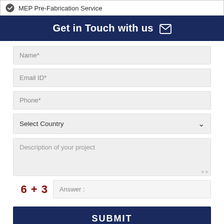MEP Pre-Fabrication Service
Get in Touch with us
Name*
Email ID*
Phone*
Select Country
Description of your project
6 + 3   Answer :
SUBMIT